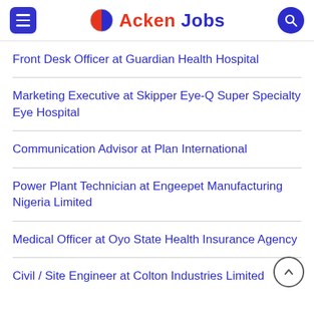Acken Jobs
Front Desk Officer at Guardian Health Hospital
Marketing Executive at Skipper Eye-Q Super Specialty Eye Hospital
Communication Advisor at Plan International
Power Plant Technician at Engeepet Manufacturing Nigeria Limited
Medical Officer at Oyo State Health Insurance Agency
Civil / Site Engineer at Colton Industries Limited